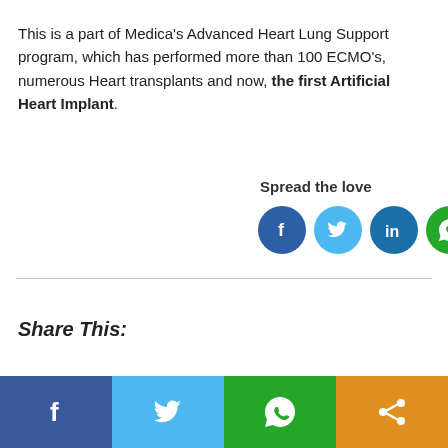This is a part of Medica's Advanced Heart Lung Support program, which has performed more than 100 ECMO's, numerous Heart transplants and now, the first Artificial Heart Implant.
Spread the love
[Figure (infographic): Social sharing icons: Facebook (blue), Twitter (light blue), LinkedIn (dark blue), WhatsApp (green), Share (orange)]
Share This:
[Figure (infographic): Bottom social sharing bar with four sections: Facebook (dark blue), Twitter (light blue), WhatsApp (green), Share (orange)]